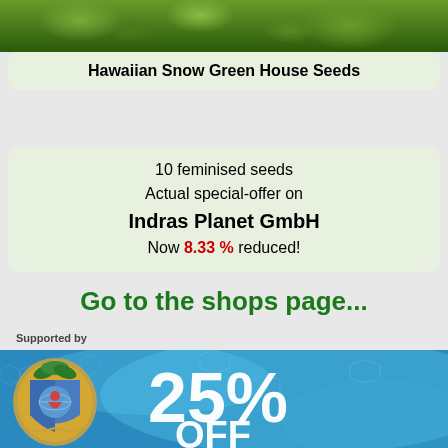[Figure (photo): Close-up photo of green cannabis plant with leaves and buds at top of page]
Hawaiian Snow
Green House Seeds
10 feminised seeds
Actual special-offer on
Indras Planet GmbH
Now 8.33 % reduced!
Go to the shops page...
Supported by
[Figure (illustration): Advertisement banner with blue water texture background, coat of arms crest on left, large white text reading 25% OFF]